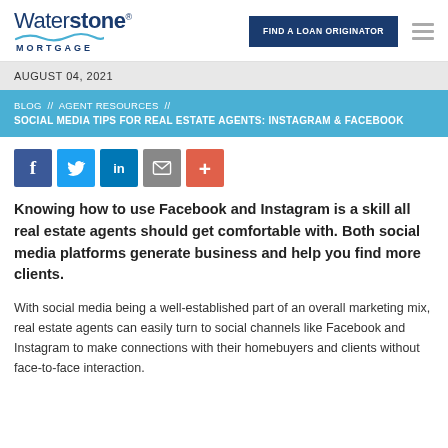Waterstone® MORTGAGE | FIND A LOAN ORIGINATOR
AUGUST 04, 2021
BLOG // AGENT RESOURCES // SOCIAL MEDIA TIPS FOR REAL ESTATE AGENTS: INSTAGRAM & FACEBOOK
[Figure (infographic): Social media share icons: Facebook (blue), Twitter (blue), LinkedIn (blue), Email (grey), Plus/more (orange-red)]
Knowing how to use Facebook and Instagram is a skill all real estate agents should get comfortable with. Both social media platforms generate business and help you find more clients.
With social media being a well-established part of an overall marketing mix, real estate agents can easily turn to social channels like Facebook and Instagram to make connections with their homebuyers and clients without face-to-face interaction.